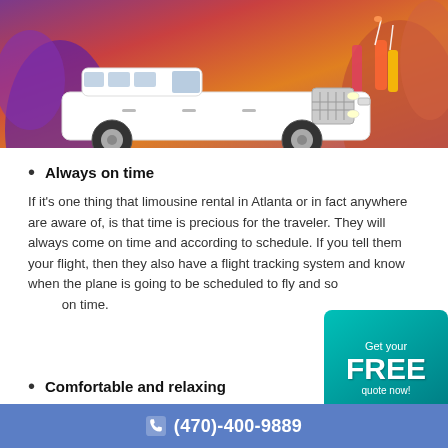[Figure (photo): White stretch limousine SUV (Cadillac Escalade limo) with party people in background holding colorful drinks]
Always on time
If it's one thing that limousine rental in Atlanta or in fact anywhere are aware of, is that time is precious for the traveler. They will always come on time and according to schedule. If you tell them your flight, then they also have a flight tracking system and know when the plane is going to be scheduled to fly and so on time.
Comfortable and relaxing
(470)-400-9889